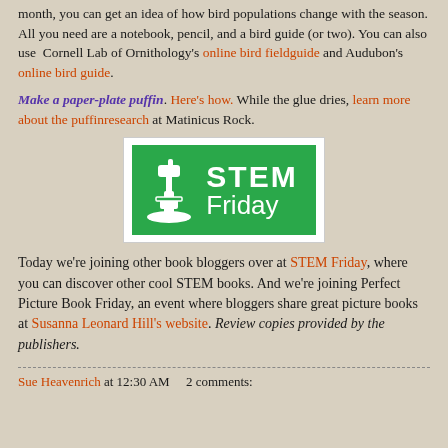month, you can get an idea of how bird populations change with the season. All you need are a notebook, pencil, and a bird guide (or two). You can also use  Cornell Lab of Ornithology's online bird fieldguide and Audubon's online bird guide.
Make a paper-plate puffin. Here's how. While the glue dries, learn more about the puffinresearch at Matinicus Rock.
[Figure (logo): STEM Friday logo: green rectangle with white microscope icon and white text 'STEM Friday']
Today we're joining other book bloggers over at STEM Friday, where you can discover other cool STEM books. And we're joining Perfect Picture Book Friday, an event where bloggers share great picture books at Susanna Leonard Hill's website. Review copies provided by the publishers.
Sue Heavenrich at 12:30 AM    2 comments: